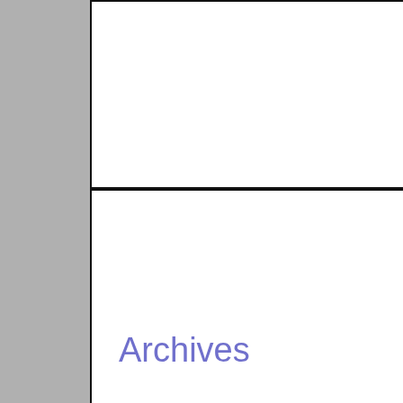[Figure (other): White rectangular panel at top of page, empty content area]
Archives
April 2022
March